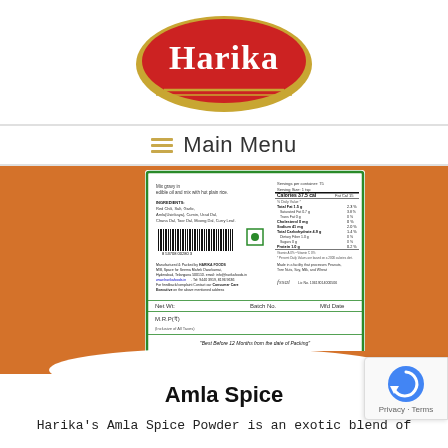[Figure (logo): Harika brand logo - red oval with gold border and white text 'Harika' with decorative gold lines underneath]
≡  Main Menu
[Figure (photo): Back of Harika spice product package showing ingredients, nutrition facts, barcode, manufacturer info, net weight, batch number, MRP fields, and best before notice. Package has orange/red spice powder background.]
Amla Spice
Harika's Amla Spice Powder is an exotic blend of
[Figure (other): Google reCAPTCHA badge with circular arrow icon and Privacy - Terms links]